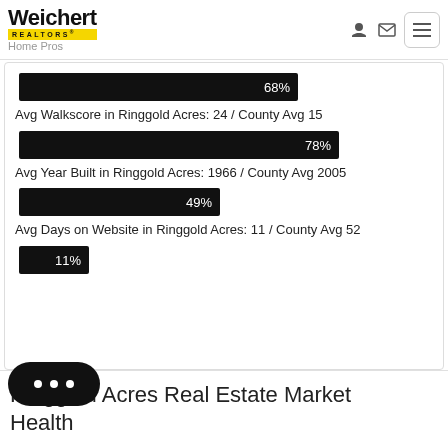Weichert REALTORS Home Pros
[Figure (bar-chart): Avg Walkscore in Ringgold Acres: 24 / County Avg 15]
Avg Walkscore in Ringgold Acres: 24 / County Avg 15
[Figure (bar-chart): Avg Year Built in Ringgold Acres: 1966 / County Avg 2005]
Avg Year Built in Ringgold Acres: 1966 / County Avg 2005
[Figure (bar-chart): Avg Days on Website in Ringgold Acres: 11 / County Avg 52]
Avg Days on Website in Ringgold Acres: 11 / County Avg 52
[Figure (bar-chart): ]
Ringgold Acres Real Estate Market Health